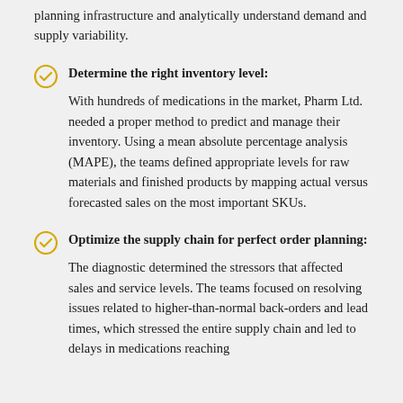planning infrastructure and analytically understand demand and supply variability.
Determine the right inventory level: With hundreds of medications in the market, Pharm Ltd. needed a proper method to predict and manage their inventory. Using a mean absolute percentage analysis (MAPE), the teams defined appropriate levels for raw materials and finished products by mapping actual versus forecasted sales on the most important SKUs.
Optimize the supply chain for perfect order planning: The diagnostic determined the stressors that affected sales and service levels. The teams focused on resolving issues related to higher-than-normal back-orders and lead times, which stressed the entire supply chain and led to delays in medications reaching